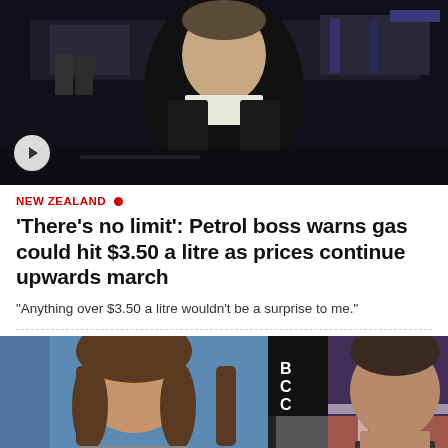[Figure (photo): Video thumbnail showing a man in dark clothing standing in front of a petrol station at night, with a play button overlay in the bottom left corner.]
NEW ZEALAND
'There's no limit': Petrol boss warns gas could hit $3.50 a litre as prices continue upwards march
"Anything over $3.50 a litre wouldn't be a surprise to me."
[Figure (photo): Two people side by side: a woman with long brown hair on a blue background on the left, and a man with short dark hair in front of a New Zealand flag on the right.]